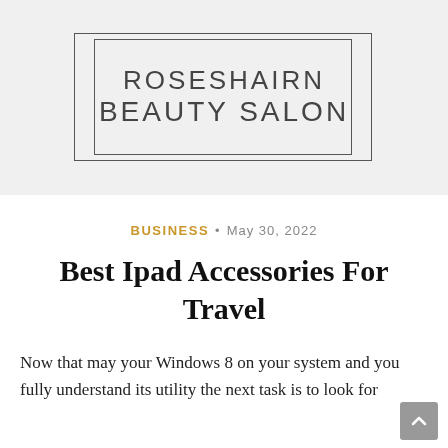[Figure (logo): Roseshairn Beauty Salon logo with double-rectangle border and large sans-serif text on grey background]
BUSINESS • May 30, 2022
Best Ipad Accessories For Travel
Now that may your Windows 8 on your system and you fully understand its utility the next task is to look for...